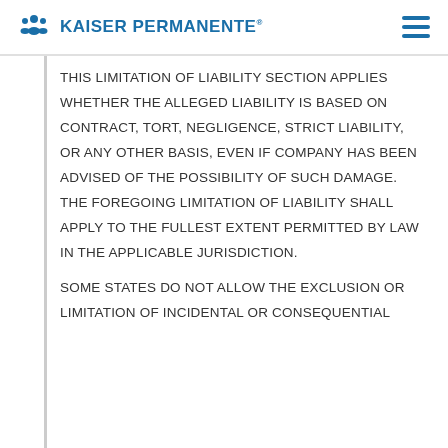KAISER PERMANENTE®
THIS LIMITATION OF LIABILITY SECTION APPLIES WHETHER THE ALLEGED LIABILITY IS BASED ON CONTRACT, TORT, NEGLIGENCE, STRICT LIABILITY, OR ANY OTHER BASIS, EVEN IF COMPANY HAS BEEN ADVISED OF THE POSSIBILITY OF SUCH DAMAGE. THE FOREGOING LIMITATION OF LIABILITY SHALL APPLY TO THE FULLEST EXTENT PERMITTED BY LAW IN THE APPLICABLE JURISDICTION.

SOME STATES DO NOT ALLOW THE EXCLUSION OR LIMITATION OF INCIDENTAL OR CONSEQUENTIAL